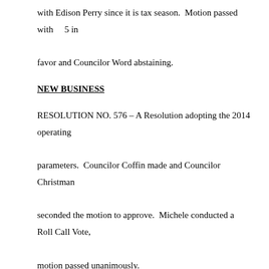with Edison Perry since it is tax season.  Motion passed with     5 in favor and Councilor Word abstaining.
NEW BUSINESS
RESOLUTION NO. 576 – A Resolution adopting the 2014 operating parameters.  Councilor Coffin made and Councilor Christman seconded the motion to approve.  Michele conducted a Roll Call Vote, motion passed unanimously.
RESOLUTION NO. 577 – Authorize expenditure of grant funds in the amount of $10,611 for the Enterprise Volunteer Fire Department from the Wildhorse Foundation.  Councilor Christman made and Councilor Coffin seconded the motion to approve.  Michele conducted a Roll Call Vote, motion passed unanimously.
RESOLUTION NO. 578 – Transfer of Funds for Salaries to distribute where actual time was spent by Public Works -  Councilor Coffin